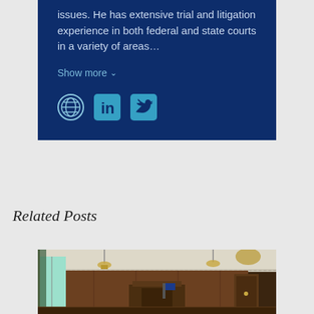issues. He has extensive trial and litigation experience in both federal and state courts in a variety of areas...
Show more ∨
[Figure (other): Three social media icons: globe/website icon, LinkedIn icon, Twitter icon]
Related Posts
[Figure (photo): Interior photograph of a traditional wood-paneled courtroom with high ceilings, decorative molding, hanging chandeliers, tall windows with green curtains, and ornate wooden judge's bench and jury box]